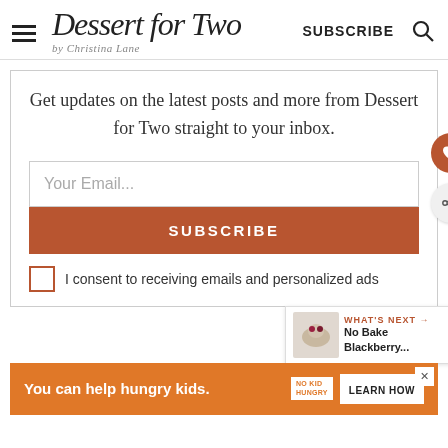Dessert for Two by Christina Lane | SUBSCRIBE
Get updates on the latest posts and more from Dessert for Two straight to your inbox.
Your Email...
SUBSCRIBE
I consent to receiving emails and personalized ads
WHAT'S NEXT → No Bake Blackberry...
You can help hungry kids.  NO KID HUNGRY  LEARN HOW